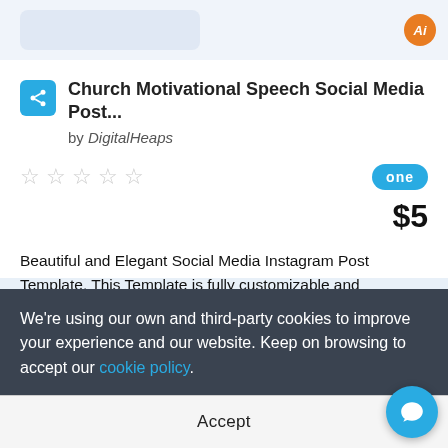[Figure (screenshot): Top bar with image thumbnail area and Adobe Illustrator orange badge icon]
Church Motivational Speech Social Media Post...
by DigitalHeaps
[Figure (other): Five empty star rating icons]
[Figure (logo): ONE badge in cyan/blue rounded rectangle]
$5
Beautiful and Elegant Social Media Instagram Post Template. This Template is fully customizable and compatible with Adobe Illustrator. AI Files Included. Pixel Perfect. Modern and Creative Design. You can easily update your Social Media Instagram Post in ...
We're using our own and third-party cookies to improve your experience and our website. Keep on browsing to accept our cookie policy.
Accept